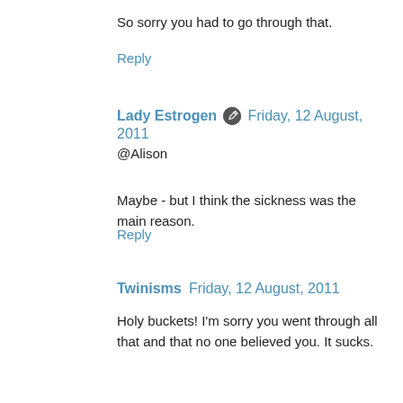So sorry you had to go through that.
Reply
Lady Estrogen  Friday, 12 August, 2011
@Alison
Maybe - but I think the sickness was the main reason.
Reply
Twinisms  Friday, 12 August, 2011
Holy buckets! I'm sorry you went through all that and that no one believed you. It sucks.
Reply
Painted Elephant  Friday, 12 August, 2011
I wonder if she focused on any of the other girls that were